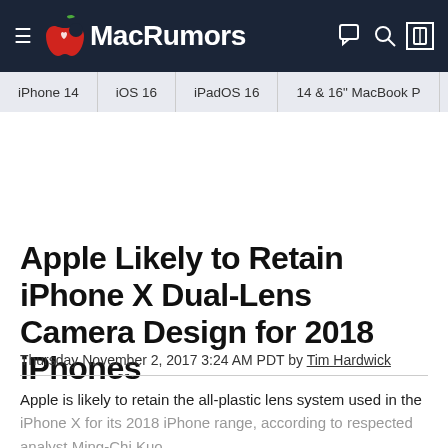MacRumors
iPhone 14 | iOS 16 | iPadOS 16 | 14 & 16" MacBook P
Apple Likely to Retain iPhone X Dual-Lens Camera Design for 2018 iPhones
Thursday November 2, 2017 3:24 AM PDT by Tim Hardwick
Apple is likely to retain the all-plastic lens system used in the iPhone X for its 2018 iPhone range, according to respected analyst Ming-Chi Kuo.